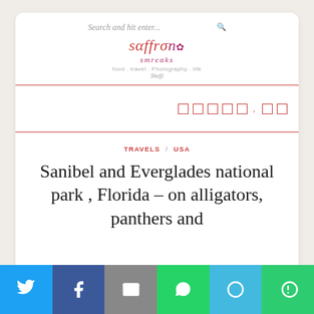Search and hit enter...
[Figure (logo): Saffron Streaks blog logo with stylized text in red and pink, tagline: food, travel, photography, life]
TRAVELS / USA
Sanibel and Everglades national park , Florida – on alligators, panthers and
[Figure (infographic): Social share bar with Twitter, Facebook, Email, WhatsApp, SMS, and More buttons]